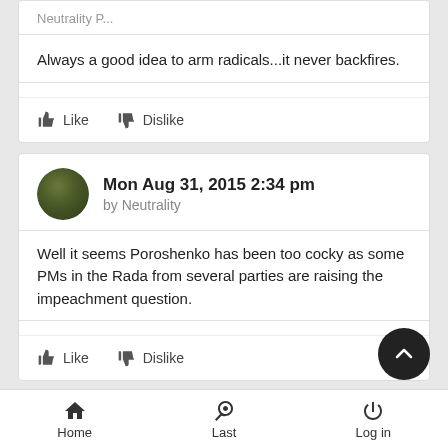Always a good idea to arm radicals...it never backfires.
Like   Dislike
Mon Aug 31, 2015 2:34 pm by Neutrality
Well it seems Poroshenko has been too cocky as some PMs in the Rada from several parties are raising the impeachment question.
Like   Dislike
Mon Aug 31, 2015 2:39 pm
Home   Last   Log in